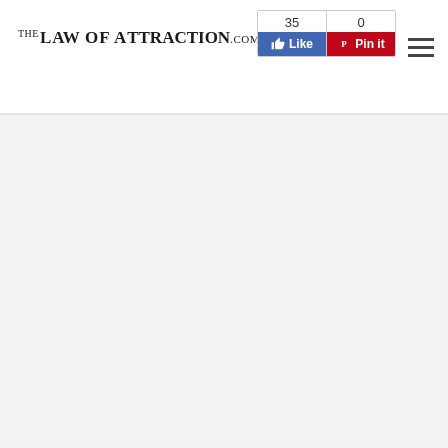TheLawOfAttraction.com — Like 35, Pin it 0
[Figure (screenshot): Website header for TheLawOfAttraction.com with logo on the left, social sharing buttons (Facebook Like with count 35, Pinterest Pin it with count 0) in the center-right, and a hamburger menu icon on the far right. Below the header is a light gray content area.]